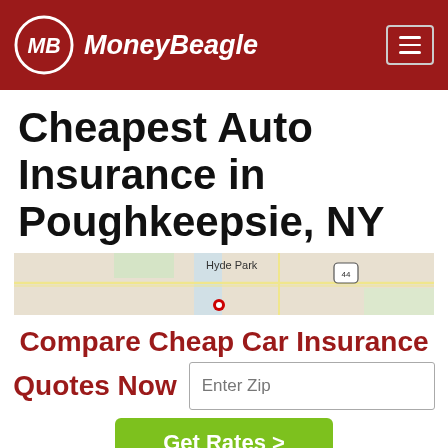MoneyBeagle
Cheapest Auto Insurance in Poughkeepsie, NY
[Figure (map): Map showing Hyde Park and surrounding area near Poughkeepsie, NY with road 44 visible]
Compare Cheap Car Insurance Quotes Now
Enter Zip
Get Rates >